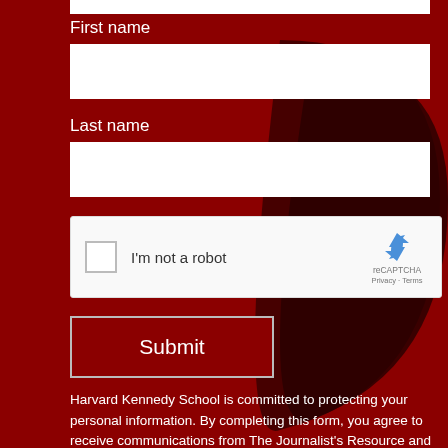First name
Last name
[Figure (other): reCAPTCHA widget with checkbox labeled 'I'm not a robot' and reCAPTCHA logo with Privacy and Terms links]
Submit
Harvard Kennedy School is committed to protecting your personal information. By completing this form, you agree to receive communications from The Journalist's Resource and to allow HKS to store your data. HKS will never sell your email address or other information to a third party. All communications will include the opportunity to unsubscribe.